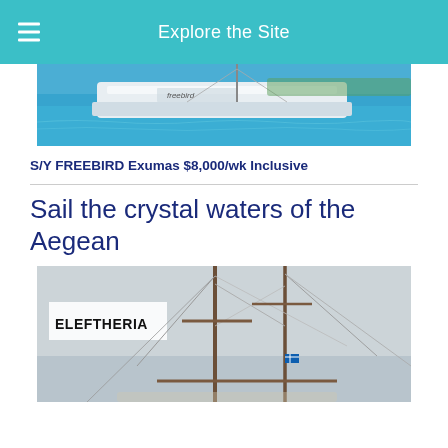Explore the Site
[Figure (photo): Sailboat named Freebird on turquoise water near a tropical shore]
S/Y FREEBIRD Exumas $8,000/wk Inclusive
Sail the crystal waters of the Aegean
[Figure (photo): Sailboat named ELEFTHERIA showing tall masts against a grey sky]